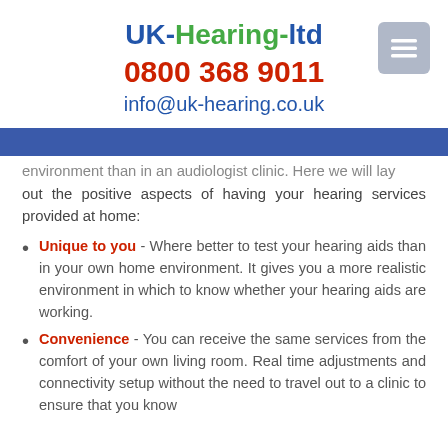UK-Hearing-ltd
0800 368 9011
info@uk-hearing.co.uk
environment than in an audiologist clinic. Here we will lay out the positive aspects of having your hearing services provided at home:
Unique to you - Where better to test your hearing aids than in your own home environment. It gives you a more realistic environment in which to know whether your hearing aids are working.
Convenience - You can receive the same services from the comfort of your own living room. Real time adjustments and connectivity setup without the need to travel out to a clinic to ensure that you know